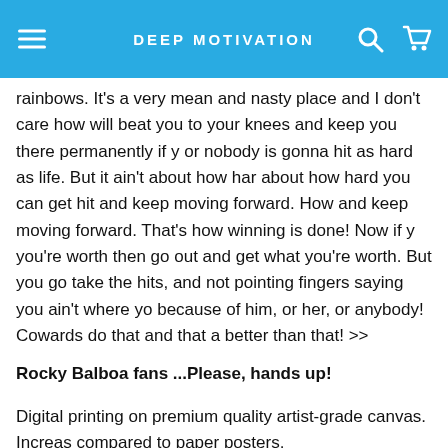DEEP MOTIVATION
rainbows. It's a very mean and nasty place and I don't care how will beat you to your knees and keep you there permanently if y or nobody is gonna hit as hard as life. But it ain't about how har about how hard you can get hit and keep moving forward. How and keep moving forward. That's how winning is done! Now if y you're worth then go out and get what you're worth. But you go take the hits, and not pointing fingers saying you ain't where yo because of him, or her, or anybody! Cowards do that and that a better than that! >>
Rocky Balboa fans ...Please, hands up!
Digital printing on premium quality artist-grade canvas. Increas compared to paper posters.
UV coating is scratch-resistant. Wipe clean with a damp cloth.